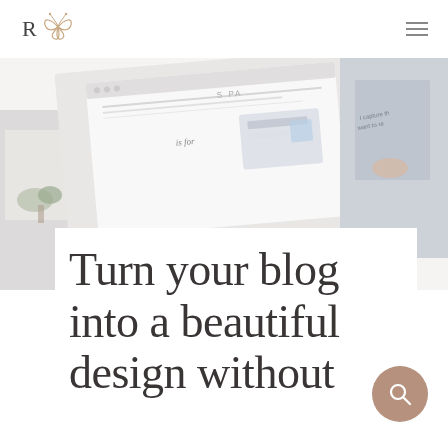R [logo with butterfly icon] — hamburger menu
[Figure (photo): Collage of blog/design related images: laptop with website mockup, flatlay with notebook, phone, and plant, and a hand holding a notebook with text 'I capture th... want to re...']
Turn your blog into a beautiful design without